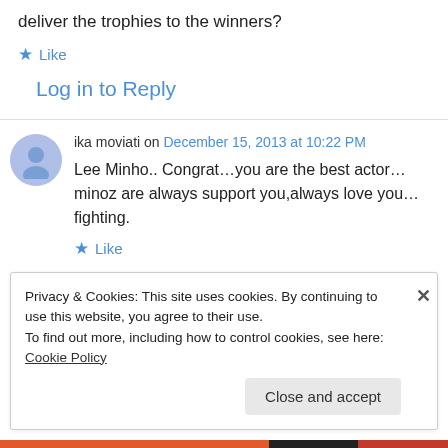deliver the trophies to the winners?
★ Like
Log in to Reply
ika moviati on December 15, 2013 at 10:22 PM
Lee Minho.. Congrat…you are the best actor… minoz are always support you,always love you… fighting.
★ Like
Privacy & Cookies: This site uses cookies. By continuing to use this website, you agree to their use.
To find out more, including how to control cookies, see here: Cookie Policy
Close and accept